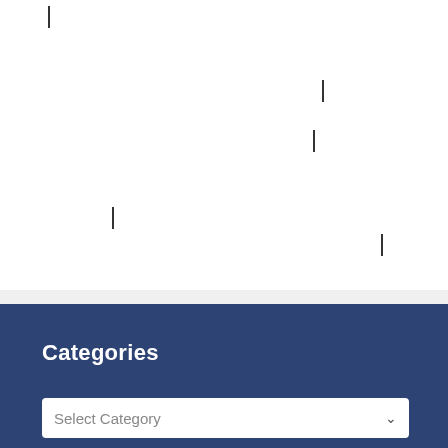[Figure (screenshot): White area with several blinking cursor marks (thin vertical bars) scattered at various positions, representing a text editing interface or form field area]
Categories
Select Category